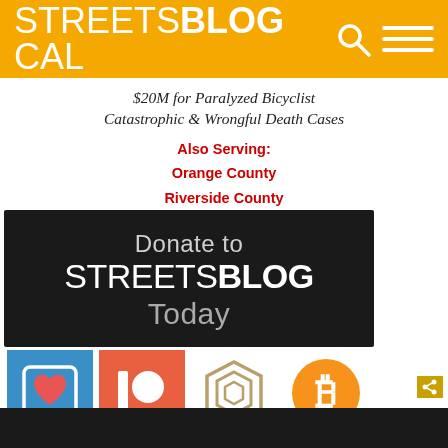STREETSBLOG CAL
[Figure (infographic): Ad banner: '$20M for Paralyzed Bicyclist Catastrophic & Wrongful Death Cases. Also Serving: Orange County, Riverside County, Imperial County']
[Figure (infographic): Donate to STREETSBLOG Today donation banner with payment icons (heart/donate, Patreon, crypto, Bitcoin) and 'Click Here to Get Started' button]